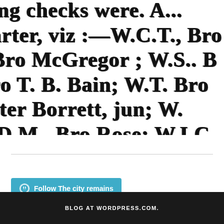[Figure (screenshot): Scanned newspaper or document text partially cropped, showing fragments of lines with names and abbreviations: 'ing checks were. A...' / 'arter, viz :—W.C.T., Bro...' / 'Bro McGregor ; W.S.. B...' / 'ro T. B. Bain; W.T. Bro...' / 'ster Borrett, jun; W....' / '.D.M., Bro Rose; W.I.C...' / 'V.O.G., Bro Fawcett; ...' / 'ge; W.R.L.S., Sister Cla...']
Follow The city remains
BLOG AT WORDPRESS.COM.